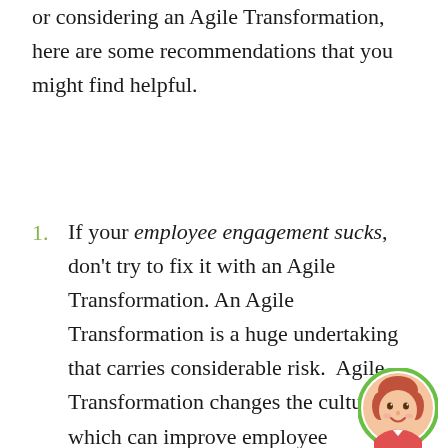or considering an Agile Transformation, here are some recommendations that you might find helpful.
If your employee engagement sucks, don't try to fix it with an Agile Transformation. An Agile Transformation is a huge undertaking that carries considerable risk. Agile Transformation changes the culture which can improve employee engagement. But transformation is not for the faint of heart. While Agile Transformation can help improve employee engagement, it is not the most direct way. Instead, try to get some clarity why employee engagement is so low. If it
[Figure (illustration): A circular avatar icon of a woman with brown/red hair and a friendly expression, with a green circular border.]